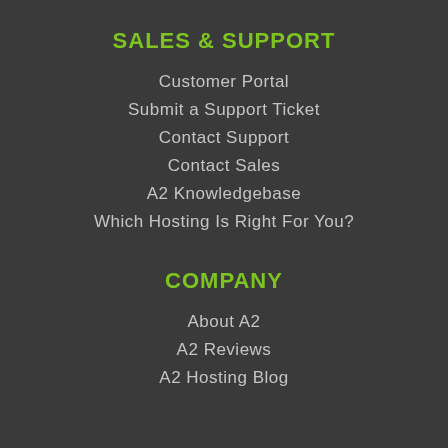SALES & SUPPORT
Customer Portal
Submit a Support Ticket
Contact Support
Contact Sales
A2 Knowledgebase
Which Hosting Is Right For You?
COMPANY
About A2
A2 Reviews
A2 Hosting Blog